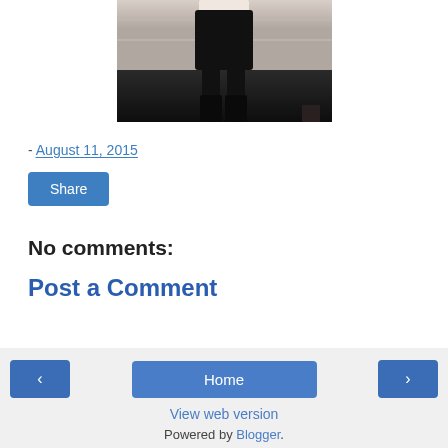[Figure (photo): Partial photo of a person's lower body wearing black outfit and boots, standing near white wall paneling, with dark floor visible.]
- August 11, 2015
Share
No comments:
Post a Comment
◁  Home  ▷  View web version  Powered by Blogger.